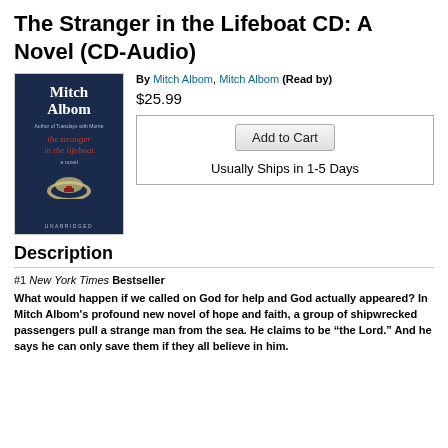The Stranger in the Lifeboat CD: A Novel (CD-Audio)
By Mitch Albom, Mitch Albom (Read by)
$25.99
[Figure (illustration): Book cover for 'the stranger in the lifeboat' by Mitch Albom, dark navy blue background, red italic title text, moon/boat imagery, labeled UNABRIDGED at bottom]
Add to Cart
Usually Ships in 1-5 Days
Description
#1 New York Times Bestseller
What would happen if we called on God for help and God actually appeared? In Mitch Albom’s profound new novel of hope and faith, a group of shipwrecked passengers pull a strange man from the sea. He claims to be “the Lord.” And he says he can only save them if they all believe in him.